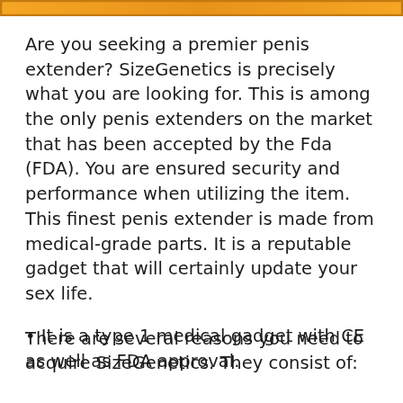[Figure (other): Orange/amber horizontal banner bar at the top of the page]
Are you seeking a premier penis extender? SizeGenetics is precisely what you are looking for. This is among the only penis extenders on the market that has been accepted by the Fda (FDA). You are ensured security and performance when utilizing the item. This finest penis extender is made from medical-grade parts. It is a reputable gadget that will certainly update your sex life.
There are several reasons you need to acquire SizeGenetics. They consist of:
It is a type 1 medical gadget with CE as well as FDA approval.